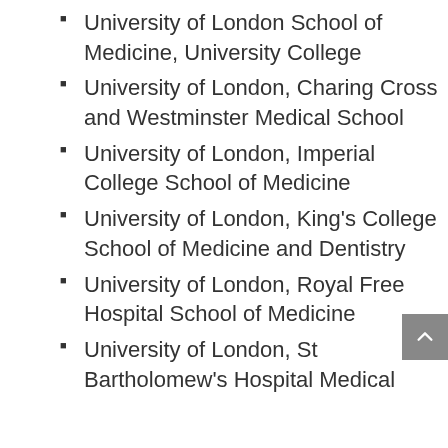University of London School of Medicine, University College
University of London, Charing Cross and Westminster Medical School
University of London, Imperial College School of Medicine
University of London, King's College School of Medicine and Dentistry
University of London, Royal Free Hospital School of Medicine
University of London, St Bartholomew's Hospital Medical College